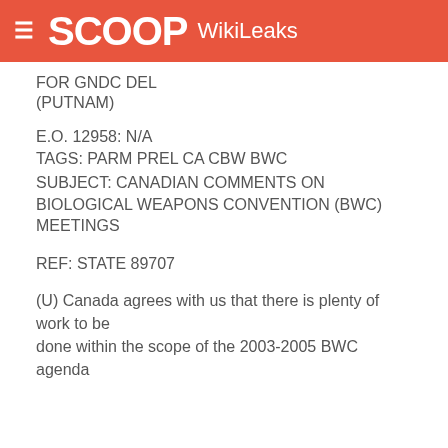SCOOP WikiLeaks
FOR GNDC DEL
(PUTNAM)
E.O. 12958: N/A
TAGS: PARM PREL CA CBW BWC
SUBJECT: CANADIAN COMMENTS ON BIOLOGICAL WEAPONS CONVENTION (BWC) MEETINGS
REF: STATE 89707
(U) Canada agrees with us that there is plenty of work to be done within the scope of the 2003-2005 BWC agenda